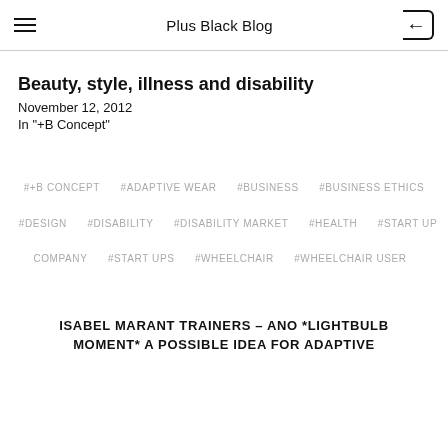Plus Black Blog
Beauty, style, illness and disability
November 12, 2012
In "+B Concept"
#+B CONCEPT   #ADAPTIVE WEAR   #BUSINESS   #BUSINESS ETHICS   #DESIGN   #DISABILITY   #DISABILITY MARKET   #HEALTH   #START UP COMPANY   #START UPS   #WHEELCHAIR   #WHEELCHAIR USER
ISABEL MARANT TRAINERS – ANO *LIGHTBULB MOMENT* A POSSIBLE IDEA FOR ADAPTIVE